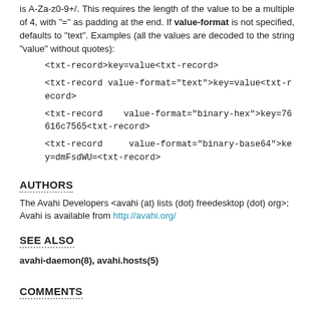is A-Za-z0-9+/. This requires the length of the value to be a multiple of 4, with "=" as padding at the end. If value-format is not specified, defaults to "text". Examples (all the values are decoded to the string "value" without quotes):
<txt-record>key=value<txt-record>
<txt-record value-format="text">key=value<txt-record>
<txt-record    value-format="binary-hex">key=76616c7565<txt-record>
<txt-record     value-format="binary-base64">key=dmFsdWU=<txt-record>
AUTHORS
The Avahi Developers <avahi (at) lists (dot) freedesktop (dot) org>; Avahi is available from http://avahi.org/
SEE ALSO
avahi-daemon(8), avahi.hosts(5)
COMMENTS